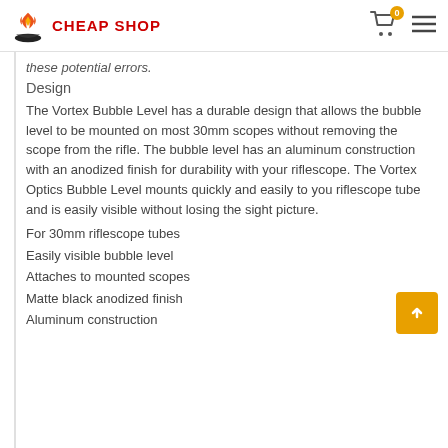CHEAP SHOP
these potential errors.
Design
The Vortex Bubble Level has a durable design that allows the bubble level to be mounted on most 30mm scopes without removing the scope from the rifle. The bubble level has an aluminum construction with an anodized finish for durability with your riflescope. The Vortex Optics Bubble Level mounts quickly and easily to you riflescope tube and is easily visible without losing the sight picture.
For 30mm riflescope tubes
Easily visible bubble level
Attaches to mounted scopes
Matte black anodized finish
Aluminum construction